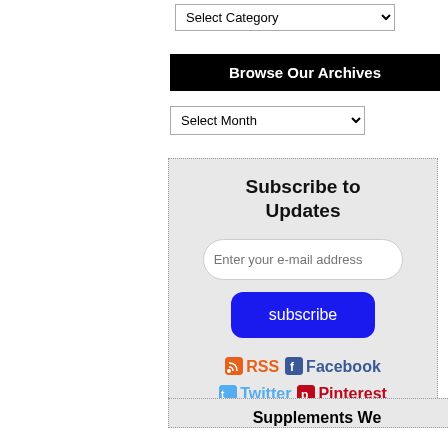[Figure (screenshot): Select Category dropdown widget]
Browse Our Archives
[Figure (screenshot): Select Month dropdown widget]
Subscribe to Updates
Enter your e-mail address
subscribe
RSS  Facebook  Twitter  Pinterest
Supplements We